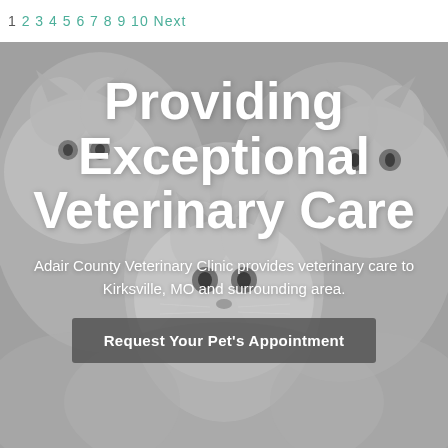1 2 3 4 5 6 7 8 9 10 Next
[Figure (photo): Grayscale photo of three kittens huddled together, used as a hero background image for a veterinary clinic website.]
Providing Exceptional Veterinary Care
Adair County Veterinary Clinic provides veterinary care to Kirksville, MO and surrounding area.
Request Your Pet's Appointment